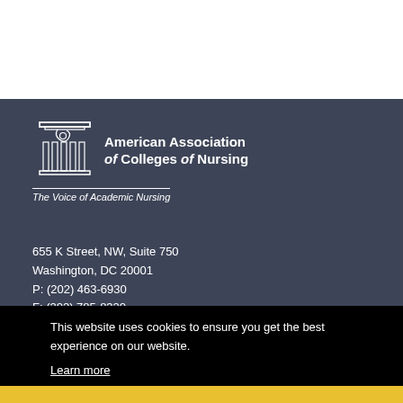[Figure (logo): American Association of Colleges of Nursing logo with column icon, organization name, and tagline 'The Voice of Academic Nursing']
655 K Street, NW, Suite 750
Washington, DC 20001
P: (202) 463-6930
F: (202) 785-8320
This website uses cookies to ensure you get the best experience on our website.
Learn more
Got it!
AACN Social Media
Media Relations
Privacy Policy
Contact Us
Copyright 2022 by American